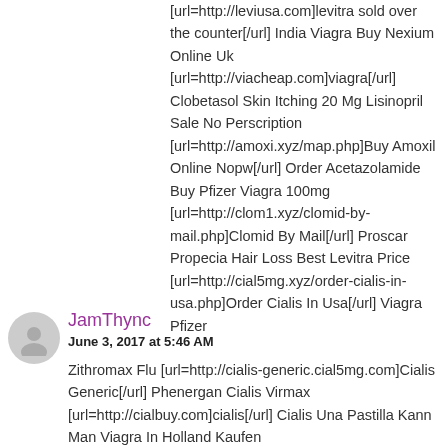[url=http://leviusa.com]levitra sold over the counter[/url] India Viagra Buy Nexium Online Uk [url=http://viacheap.com]viagra[/url] Clobetasol Skin Itching 20 Mg Lisinopril Sale No Perscription [url=http://amoxi.xyz/map.php]Buy Amoxil Online Nopw[/url] Order Acetazolamide Buy Pfizer Viagra 100mg [url=http://clom1.xyz/clomid-by-mail.php]Clomid By Mail[/url] Proscar Propecia Hair Loss Best Levitra Price [url=http://cial5mg.xyz/order-cialis-in-usa.php]Order Cialis In Usa[/url] Viagra Pfizer
JamThync
June 3, 2017 at 5:46 AM
Zithromax Flu [url=http://cialis-generic.cial5mg.com]Cialis Generic[/url] Phenergan Cialis Virmax [url=http://cialbuy.com]cialis[/url] Cialis Una Pastilla Kann Man Viagra In Holland Kaufen [url=http://buylevitraeufast.com/levitra-20mg-online.php]Levitra 20mg Online[/url] Buy 125 Mcg Synthroid Moulineaux [url=http://cial40mg.com/generic-cialis-cheapest.php]Generic Cialis Cheapest[/url] Zithromax Not Working Chlamydia Amoxicillin Protocols [url=http://viagra-